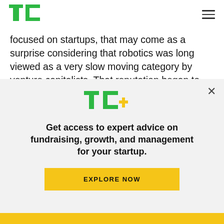TechCrunch - TC logo and navigation
focused on startups, that may come as a surprise considering that robotics was long viewed as a very slow moving category by venture capitalists. That reputation began to change five years ago when the many technologies required to build robotics, notably sophisticated sensors and GPUs, became much more capable and affordable for startups, while at the same time...
[Figure (logo): TC+ logo in modal overlay]
Get access to expert advice on fundraising, growth, and management for your startup.
EXPLORE NOW